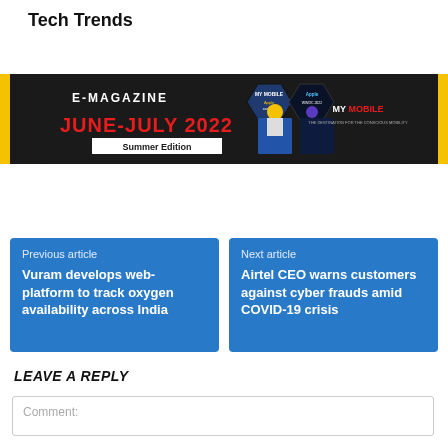Tech Trends
[Figure (infographic): E-Magazine banner for June-July 2022 Summer Edition of My Mobile magazine, with dark background, yellow accents, hexagonal magazine cover images, and MY MOBILE branding.]
Previous article
Vuram develops web-platform to track oxygen availability across India
Next article
Airtel CEO warns customers against cyber frauds amid COVID-19 crisis
LEAVE A REPLY
Comment: